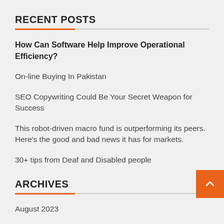RECENT POSTS
How Can Software Help Improve Operational Efficiency?
On-line Buying In Pakistan
SEO Copywriting Could Be Your Secret Weapon for Success
This robot-driven macro fund is outperforming its peers. Here's the good and bad news it has for markets.
30+ tips from Deaf and Disabled people
ARCHIVES
August 2023